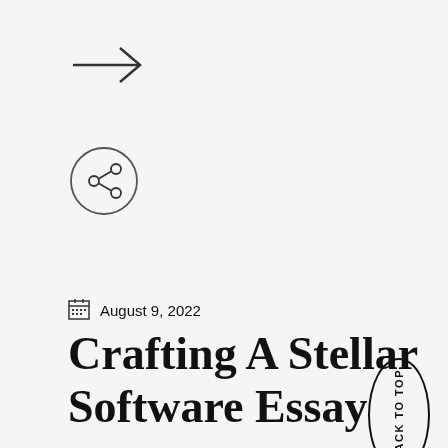[Figure (other): Right-pointing arrow icon (navigation element)]
[Figure (other): Share icon — circle with three connected dots inside]
August 9, 2022
Crafting A Stellar Software Essay
I might have simply chosen to spend that summer season the normal way; actually, my parents even tried to steer me into taking a break. Instead, I chose to do molecular biology research at Stanford
[Figure (other): Oval 'BACK TO TOP' button with vertical text]